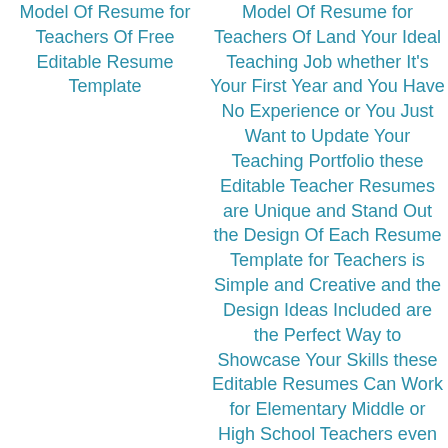Model Of Resume for Teachers Of Free Editable Resume Template
Model Of Resume for Teachers Of Land Your Ideal Teaching Job whether It's Your First Year and You Have No Experience or You Just Want to Update Your Teaching Portfolio these Editable Teacher Resumes are Unique and Stand Out the Design Of Each Resume Template for Teachers is Simple and Creative and the Design Ideas Included are the Perfect Way to Showcase Your Skills these Editable Resumes Can Work for Elementary Middle or High School Teachers even Special area Teachers or Special